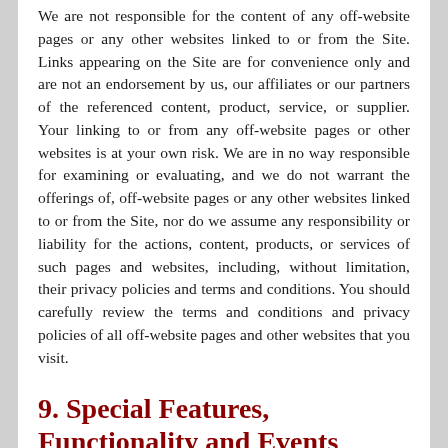We are not responsible for the content of any off-website pages or any other websites linked to or from the Site. Links appearing on the Site are for convenience only and are not an endorsement by us, our affiliates or our partners of the referenced content, product, service, or supplier. Your linking to or from any off-website pages or other websites is at your own risk. We are in no way responsible for examining or evaluating, and we do not warrant the offerings of, off-website pages or any other websites linked to or from the Site, nor do we assume any responsibility or liability for the actions, content, products, or services of such pages and websites, including, without limitation, their privacy policies and terms and conditions. You should carefully review the terms and conditions and privacy policies of all off-website pages and other websites that you visit.
9. Special Features, Functionality and Events
The Site may offer certain special features and functionality or events (such as contests, sweepstakes or other offerings) which may (a) be subject to terms of use, rules and/or policies in